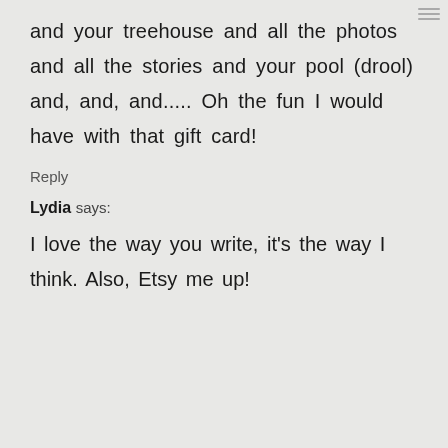and your treehouse and all the photos and all the stories and your pool (drool) and, and, and..... Oh the fun I would have with that gift card!
Reply
Lydia says:
I love the way you write, it's the way I think. Also, Etsy me up!